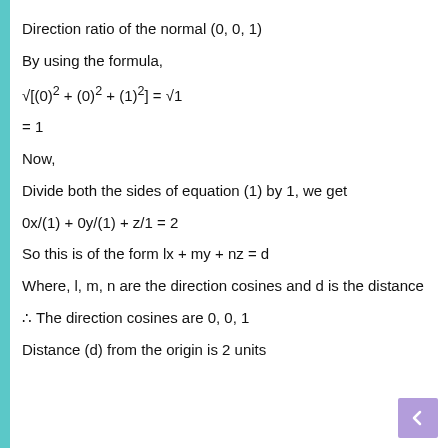Direction ratio of the normal (0, 0, 1)
By using the formula,
Now,
Divide both the sides of equation (1) by 1, we get
So this is of the form lx + my + nz = d
Where, l, m, n are the direction cosines and d is the distance
∴ The direction cosines are 0, 0, 1
Distance (d) from the origin is 2 units